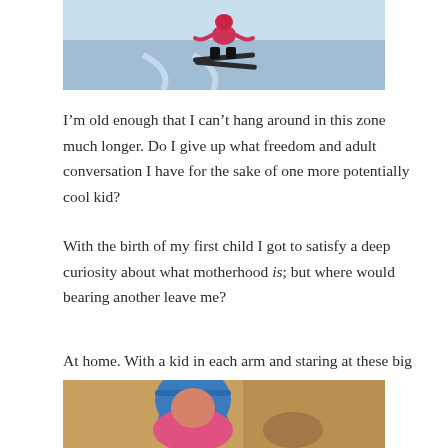[Figure (photo): Child skiing on snow, wearing pink/red outfit, viewed from above]
I’m old enough that I can’t hang around in this zone much longer. Do I give up what freedom and adult conversation I have for the sake of one more potentially cool kid?
With the birth of my first child I got to satisfy a deep curiosity about what motherhood is; but where would bearing another leave me?
At home. With a kid in each arm and staring at these big fat powder boards.
[Figure (photo): Person wearing blue hat and pink garment, partial view]